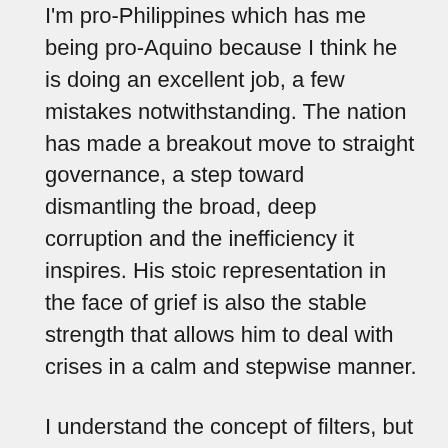I'm pro-Philippines which has me being pro-Aquino because I think he is doing an excellent job, a few mistakes notwithstanding. The nation has made a breakout move to straight governance, a step toward dismantling the broad, deep corruption and the inefficiency it inspires. His stoic representation in the face of grief is also the stable strength that allows him to deal with crises in a calm and stepwise manner.
I understand the concept of filters, but I also understand the concept of ethics, and believe it is something all professions in the Philippines ought to be aspire toward. It is hard for me to sit and see what is published